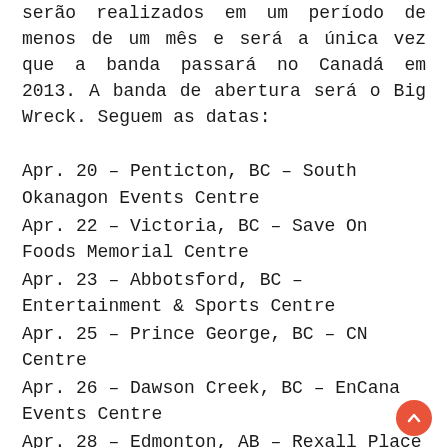serão realizados em um período de menos de um mês e será a única vez que a banda passará no Canadá em 2013. A banda de abertura será o Big Wreck. Seguem as datas:
Apr. 20 – Penticton, BC – South Okanagon Events Centre
Apr. 22 – Victoria, BC – Save On Foods Memorial Centre
Apr. 23 – Abbotsford, BC – Entertainment & Sports Centre
Apr. 25 – Prince George, BC – CN Centre
Apr. 26 – Dawson Creek, BC – EnCana Events Centre
Apr. 28 – Edmonton, AB – Rexall Place
Apr. 29 – Calgary, AB – Scotiabank